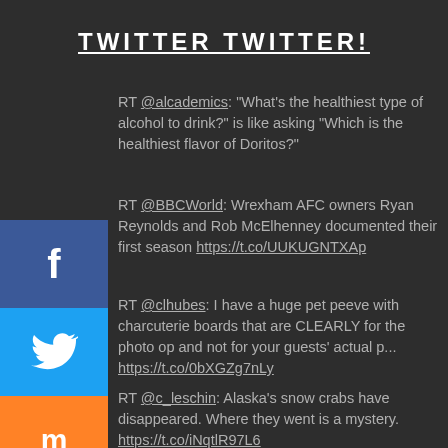TWITTER TWITTER!
RT @alcademics: "What's the healthiest type of alcohol to drink?" is like asking "Which is the healthiest flavor of Doritos?"
RT @BBCWorld: Wrexham AFC owners Ryan Reynolds and Rob McElhenney documented their first season https://t.co/UUKUGNTXAp
RT @clhubes: I have a huge pet peeve with charcuterie boards that are CLEARLY for the photo op and not for your guests' actual p... https://t.co/0bXGZg7nLy
RT @c_leschin: Alaska's snow crabs have disappeared. Where they went is a mystery. https://t.co/iNqtlR97L6
My last employer explained that no one had job descriptions so that employees could be asked to do anything and not...